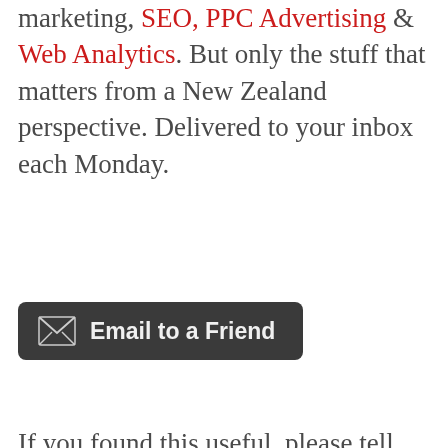marketing, SEO, PPC Advertising & Web Analytics. But only the stuff that matters from a New Zealand perspective. Delivered to your inbox each Monday.
[Figure (other): Dark rounded rectangle button with envelope icon and text 'Email to a Friend']
If you found this useful, please tell your friends.
About the Author Jeremy Templer
Jeremy is a Partner and Senior Consultant at